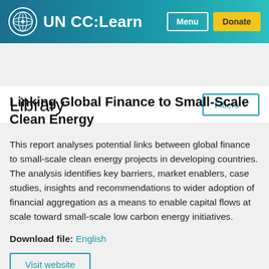UN CC:Learn
Library
Linking Global Finance to Small-Scale Clean Energy
This report analyses potential links between global finance to small-scale clean energy projects in developing countries. The analysis identifies key barriers, market enablers, case studies, insights and recommendations to wider adoption of financial aggregation as a means to enable capital flows at scale toward small-scale low carbon energy initiatives.
Download file: English
Visit website